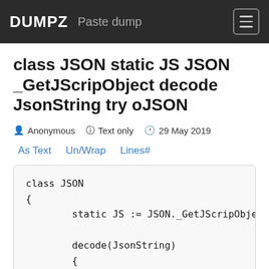DUMPZ  Paste dump
class JSON static JS JSON _GetJScripObject decode JsonString try oJSON
Anonymous  Text only  29 May 2019
As Text  Un/Wrap  Lines#
class JSON
{
        static JS := JSON._GetJScripObject(

        decode(JsonString)
        {
                try